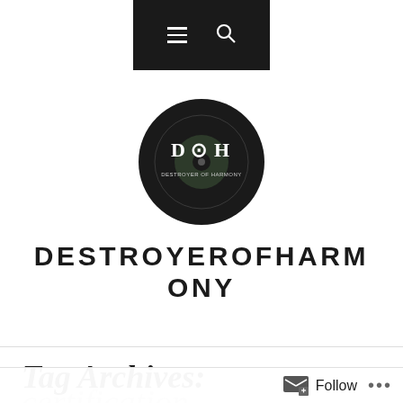Navigation bar with hamburger menu and search icon
[Figure (logo): Circular black logo with 'DOH' text and 'DESTROYER OF HARMONY' text in a vinyl record design]
DESTROYEROFHARMONY
Tag Archives:
certification
Follow ...